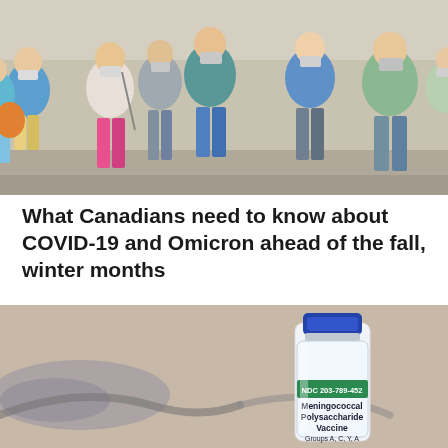[Figure (photo): Crowd of people walking outdoors, all wearing face masks, in bright summer conditions. Multiple people visible wearing casual summer clothing in various colors.]
What Canadians need to know about COVID-19 and Omicron ahead of the fall, winter months
[Figure (photo): Close-up photo of a vaccine vial with label reading 'NDC 203-789-452 Meningococcal Polysaccharide Vaccine Groups A, C, Y, A' with a blue cap, sitting next to a stethoscope, on a beige/tan background.]